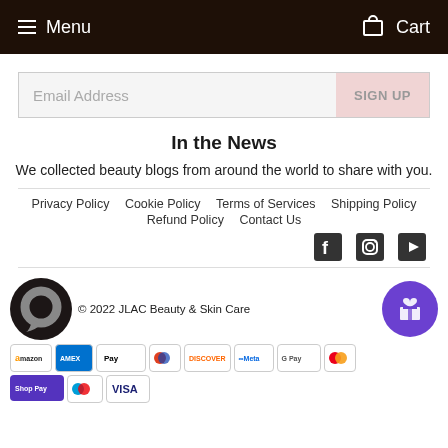Menu  Cart
Email Address  SIGN UP
In the News
We collected beauty blogs from around the world to share with you.
Privacy Policy   Cookie Policy   Terms of Services   Shipping Policy   Refund Policy   Contact Us
[Figure (other): Social media icons: Facebook, Instagram, YouTube]
[Figure (logo): JLAC logo (dark circular chat bubble icon) and copyright text: © 2022 JLAC Beauty & Skin Care. Payment method logos: Amazon, Amex, Apple Pay, Diners, Discover, Meta Pay, Google Pay, Mastercard, Shop Pay, Maestro, Visa. Purple gift/reward button.]